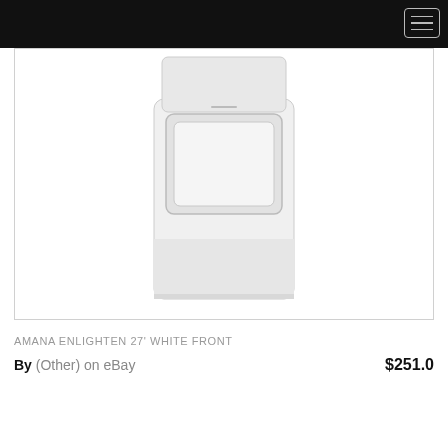[Figure (photo): Top-down or front view of a white Amana Enlighten 27-inch dryer appliance shown in a product listing image with light gray background]
AMANA ENLIGHTEN 27' WHITE FRONT
By (Other) on eBay   $251.0